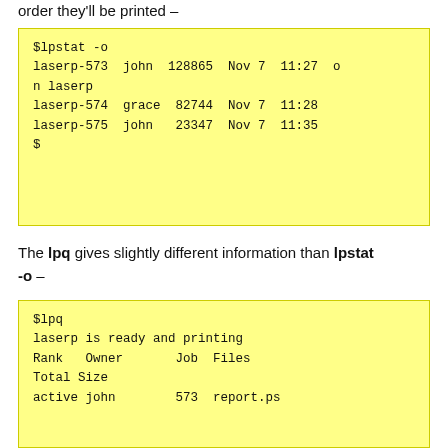order they'll be printed –
$lpstat -o
laserp-573  john  128865  Nov 7  11:27  o
n laserp
laserp-574  grace  82744  Nov 7  11:28
laserp-575  john  23347  Nov 7  11:35
$
The lpq gives slightly different information than lpstat -o –
$lpq
laserp is ready and printing
Rank   Owner       Job  Files
Total Size
active john        573  report.ps